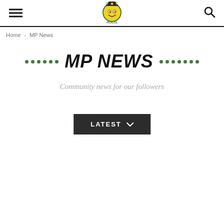Monkey Pickles — site header with hamburger menu, logo, and search icon
Home › MP News
MP NEWS
Community news for our followers
LATEST